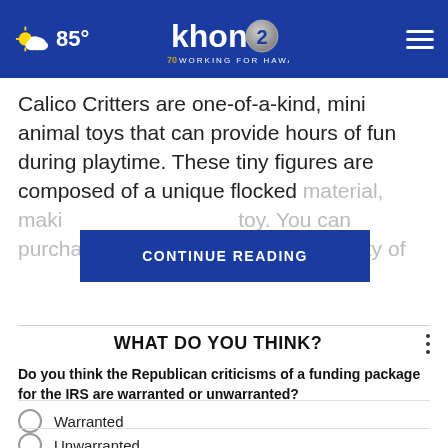khon2 Working for Hawaii — 85°
Calico Critters are one-of-a-kind, mini animal toys that can provide hours of fun during playtime. These tiny figures are composed of a unique flocked material, maki[ng them feel like a soft, huggable] toy. You can purchase them [in] a variety of
CONTINUE READING
WHAT DO YOU THINK?
Do you think the Republican criticisms of a funding package for the IRS are warranted or unwarranted?
Warranted
Unwarranted
I'm not sure